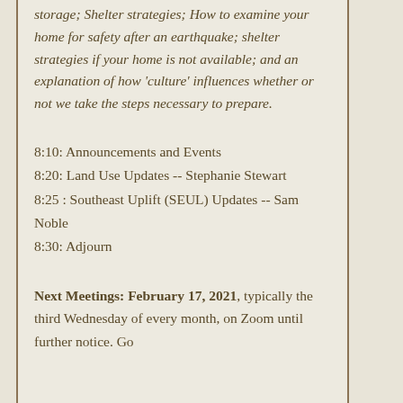Actionable tips for long-term food storage; Shelter strategies; How to examine your home for safety after an earthquake; shelter strategies if your home is not available; and an explanation of how 'culture' influences whether or not we take the steps necessary to prepare.
8:10: Announcements and Events
8:20: Land Use Updates -- Stephanie Stewart
8:25 : Southeast Uplift (SEUL) Updates -- Sam Noble
8:30: Adjourn
Next Meetings: February 17, 2021, typically the third Wednesday of every month, on Zoom until further notice. Go